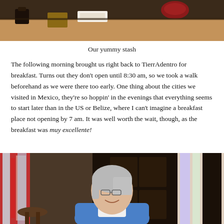[Figure (photo): Top portion of a photo showing a table with food items and decorative objects — a yummy stash]
Our yummy stash
The following morning brought us right back to TierrAdentro for breakfast. Turns out they don't open until 8:30 am, so we took a walk beforehand as we were there too early. One thing about the cities we visited in Mexico, they're so hoppin' in the evenings that everything seems to start later than in the US or Belize, where I can't imagine a breakfast place not opening by 7 am. It was well worth the wait, though, as the breakfast was muy excellente!
[Figure (photo): A smiling woman with gray hair and glasses wearing a blue jacket, standing in front of a dark wooden door flanked by colorful embroidered textiles]